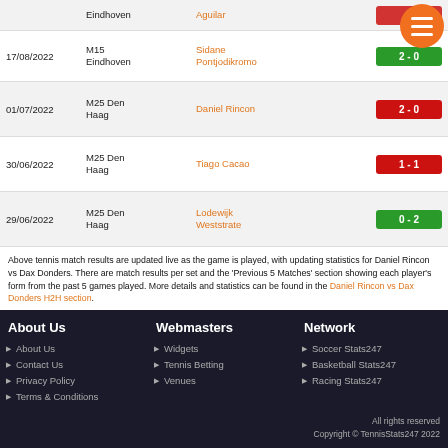| Date | Tournament | Player | Score |
| --- | --- | --- | --- |
|  | M15 Eindhoven | Aguilar |  |
| 17/08/2022 | M15 Eindhoven | Sidane Pontjodikromo | 2 - 0 |
| 01/07/2022 | M25 Den Haag | Daniel Rincon | 2 - 0 |
| 30/06/2022 | M25 Den Haag | Tiago Cacao | 1 - 1 |
| 29/06/2022 | M25 Den Haag | Lodewijk Weststrate | 0 - 2 |
Above tennis match results are updated live as the game is played, with updating statistics for Daniel Rincon vs Dax Donders. There are match results per set and the 'Previous 5 Matches' section showing each player's form from the past 5 games played. More details and statistics can be found in the Daniel Rincon vs Dax Donders H2H section.
About Us
About Us
Contact Us
Privacy Policy
Terms & Conditions
Webmasters
Widgets
Tennis Betting
Venues
Network
Soccer Stats247
Basketball Stats247
Racing Stats247
All rights reserved Copyright © TennisStats247 2022